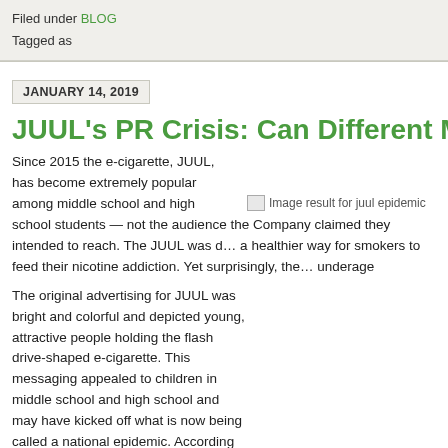Filed under BLOG
Tagged as
JANUARY 14, 2019
JUUL's PR Crisis: Can Different Messaging End...
Since 2015 the e-cigarette, JUUL, has become extremely popular among middle school and high school students — not the audience the Company claimed they intended to reach. The JUUL was designed to be a healthier way for smokers to feed their nicotine addiction. Yet surprisingly, the majority of users are underage
[Figure (photo): Image result for juul epidemic — placeholder broken image]
The original advertising for JUUL was bright and colorful and depicted young, attractive people holding the flash drive-shaped e-cigarette. This messaging appealed to children in middle school and high school and may have kicked off what is now being called a national epidemic. According to the New York Times, 11% of twelfth graders, 8.2% of tenth graders, and 3.5% of eighth graders had used a vaping device containing nicotine in the previous